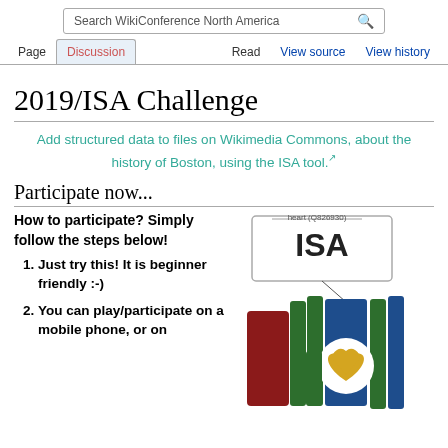Search WikiConference North America
Page | Discussion | Read | View source | View history
2019/ISA Challenge
Add structured data to files on Wikimedia Commons, about the history of Boston, using the ISA tool.
Participate now...
How to participate? Simply follow the steps below!
Just try this! It is beginner friendly :-)
You can play/participate on a mobile phone, or on
[Figure (screenshot): ISA tool diagram showing a card with 'ISA' label and 'heart (Q826930)' annotation, with colored Wikidata logo below featuring a golden heart shape]